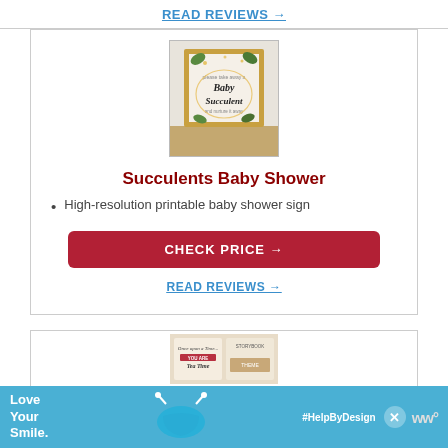READ REVIEWS →
[Figure (photo): Product image: a framed 'Baby Succulent' printable sign with botanical/succulent design in a gold frame on a wooden surface]
Succulents Baby Shower
High-resolution printable baby shower sign
CHECK PRICE →
READ REVIEWS →
[Figure (photo): Product image: 'Once upon a time...' baby shower theme printable cards]
[Figure (advertisement): Love Your Smile / HelpByDesign advertisement banner with blue mask graphic]